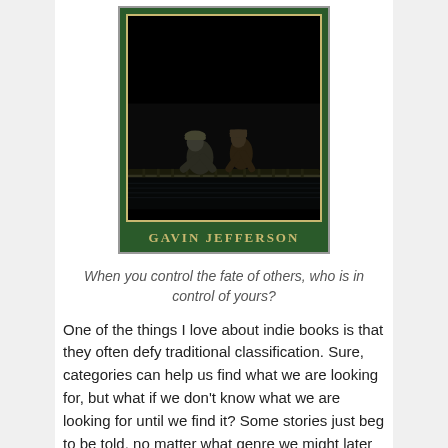[Figure (illustration): Book cover with dark green background and a cream inner border. Black and white illustration of two figures leaning over what appears to be a railing or bridge. Author name 'GAVIN JEFFERSON' in gold/cream serif letters at the bottom of the cover.]
When you control the fate of others, who is in control of yours?
One of the things I love about indie books is that they often defy traditional classification. Sure, categories can help us find what we are looking for, but what if we don't know what we are looking for until we find it? Some stories just beg to be told, no matter what genre we might later decide they should sit in.